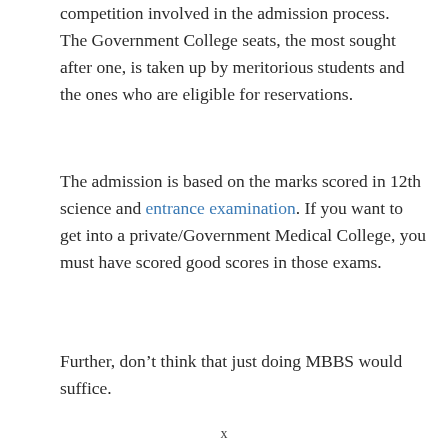competition involved in the admission process. The Government College seats, the most sought after one, is taken up by meritorious students and the ones who are eligible for reservations.
The admission is based on the marks scored in 12th science and entrance examination. If you want to get into a private/Government Medical College, you must have scored good scores in those exams.
Further, don’t think that just doing MBBS would suffice.
x